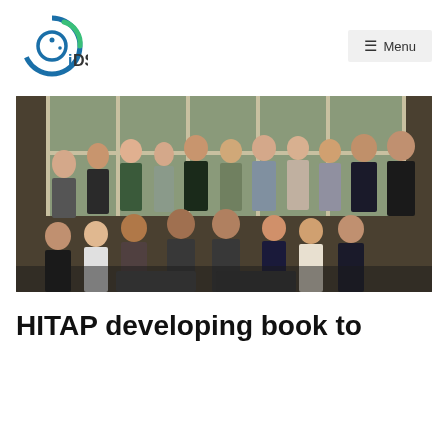[Figure (logo): iDSI circular logo with blue and green arc design and 'iDSI' text]
≡ Menu
[Figure (photo): Group photo of approximately 17 people posing together in an indoor setting with large windows behind them. People are standing and seated in two rows.]
HITAP developing book to